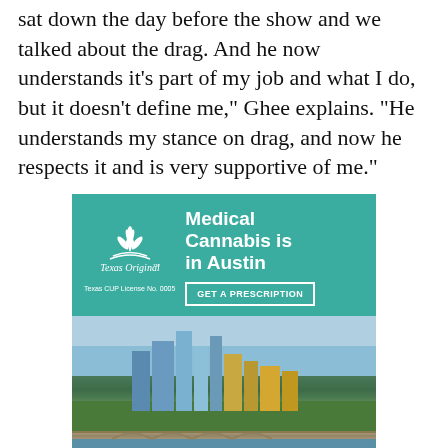sat down the day before the show and we talked about the drag. And he now understands it's part of my job and what I do, but it doesn't define me," Ghee explains. "He understands my stance on drag, and now he respects it and is very supportive of me."
[Figure (infographic): Texas Original dispensary advertisement. Teal background with logo and text 'Medical Cannabis is in Austin' and 'GET A PRESCRIPTION' button. Bottom half shows aerial photo of Austin city skyline.]
The acceptance Ghee received in his own life is what the character he plays desires. He says for all its glitz and